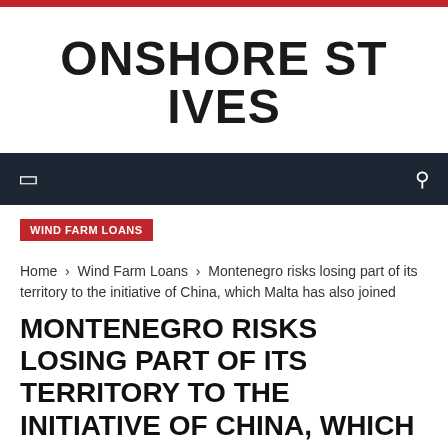ONSHORE ST IVES
WIND FARM LOANS
Home › Wind Farm Loans › Montenegro risks losing part of its territory to the initiative of China, which Malta has also joined
MONTENEGRO RISKS LOSING PART OF ITS TERRITORY TO THE INITIATIVE OF CHINA, WHICH MALTA HAS ALSO JOINED